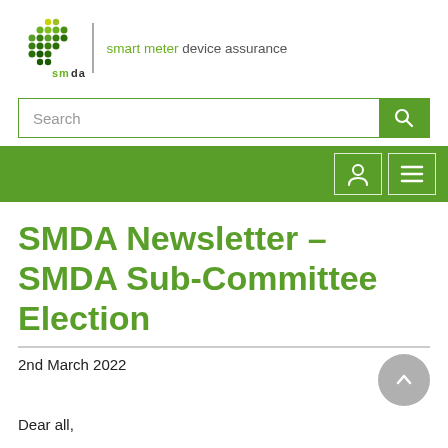[Figure (logo): SMDA (Smart Meter Device Assurance) logo with coloured dot grid and text 'smart meter device assurance']
[Figure (screenshot): Search bar with green search button]
[Figure (screenshot): Green navigation bar with user icon and hamburger menu icon]
SMDA Newsletter – SMDA Sub-Committee Election
2nd March 2022
Dear all,